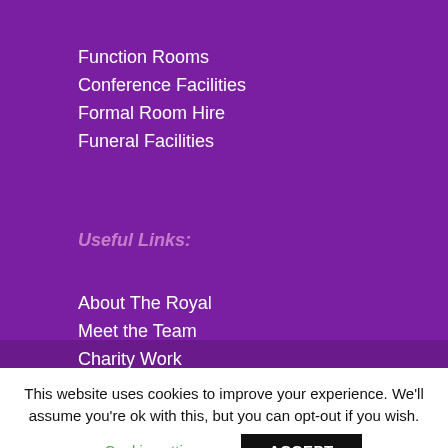Function Rooms
Conference Facilities
Formal Room Hire
Funeral Facilities
Useful Links:
About The Royal
Meet the Team
Charity Work
Careers at The Royal
This website uses cookies to improve your experience. We'll assume you're ok with this, but you can opt-out if you wish.
Cookie settings
ACCEPT